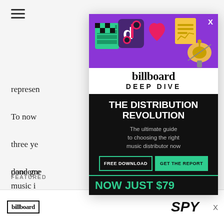represen... unity. To now h... ner three ye... y. We've done gre... e pandeme... no music i... to serve th... st iconic songs o...
[Figure (illustration): Billboard Deep Dive advertisement overlay with TikTok-themed illustrated icons (TikTok logo, heart, satellite dish, graph, document icons) on purple background, billboard logo in black and white, and 'THE DISTRIBUTION REVOLUTION' headline on black background with 'FREE DOWNLOAD' and 'GET THE REPORT' buttons and 'NOW JUST $79' offer]
FEATURED
[Figure (logo): Billboard logo in bordered box at bottom strip, with SPY text italic at right, and X close button]